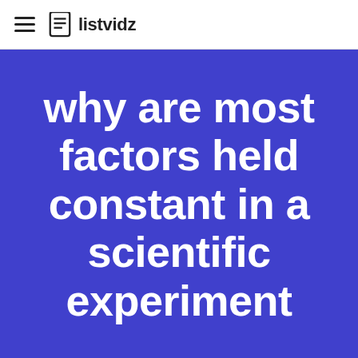listvidz
why are most factors held constant in a scientific experiment